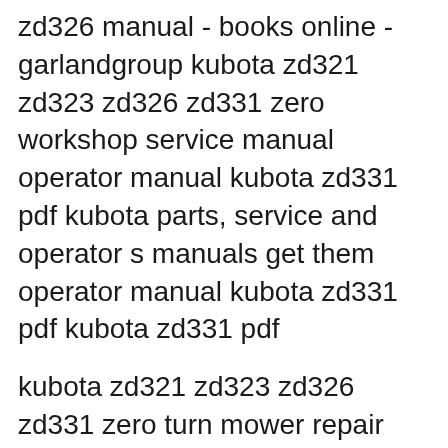zd326 manual - books online - garlandgroup kubota zd321 zd323 zd326 zd331 zero workshop service manual operator manual kubota zd331 pdf kubota parts, service and operator s manuals get them operator manual kubota zd331 pdf kubota zd331 pdf
kubota zd321 zd323 zd326 zd331 zero turn mower repair service manual . p. 1 / 1 . Embed or link this publication. Description. Complete OEM Workshop Service Manual. The Service workshop repair manual offers detailed servicing instructions and will give you complete step by step information on repair, servicing, preventative maintenance Apr 30, 2019B B· Download Kubota